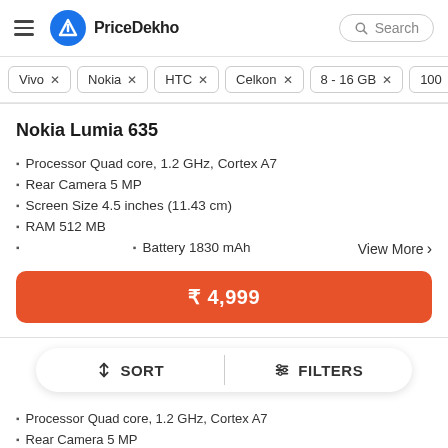PriceDekho
Vivo ×
Nokia ×
HTC ×
Celkon ×
8 - 16 GB ×
100 ...
Nokia Lumia 635
Processor Quad core, 1.2 GHz, Cortex A7
Rear Camera 5 MP
Screen Size 4.5 inches (11.43 cm)
RAM 512 MB
Battery 1830 mAh
View More ›
₹ 4,999
SORT   FILTERS
Processor Quad core, 1.2 GHz, Cortex A7
Rear Camera 5 MP
Screen Size 5.0 inches (12.7 cm)